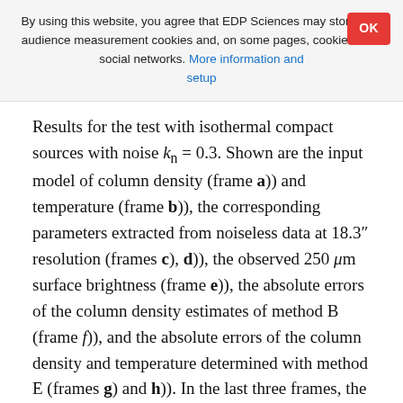By using this website, you agree that EDP Sciences may store web audience measurement cookies and, on some pages, cookies from social networks. More information and setup
Results for the test with isothermal compact sources with noise k_n = 0.3. Shown are the input model of column density (frame a)) and temperature (frame b)), the corresponding parameters extracted from noiseless data at 18.3" resolution (frames c), d)), the observed 250 μm surface brightness (frame e)), the absolute errors of the column density estimates of method B (frame f)), and the absolute errors of the column density and temperature determined with method E (frames g) and h)). In the last three frames, the rms error of the corresponding parameter is given in the figure.